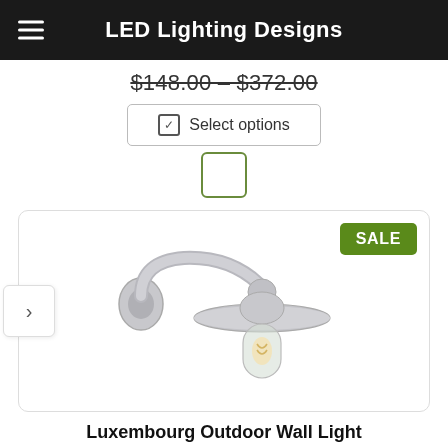LED Lighting Designs
$148.00 – $372.00
Select options
[Figure (photo): Luxembourg Outdoor Wall Light — a wall-mounted gooseneck arm lamp with a circular backplate, curved arm, wide brim shade, and clear glass bulb cover in a silver/chrome finish. A green SALE badge appears in the top-right corner of the product card.]
Luxembourg Outdoor Wall Light
★★★★★ (empty stars)